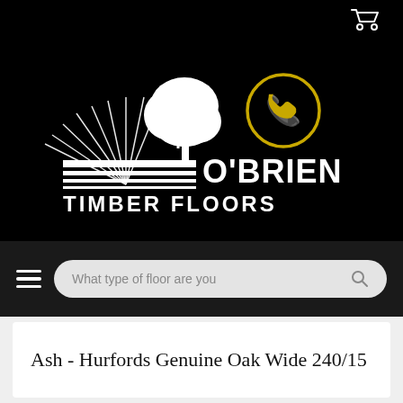[Figure (logo): O'Brien Timber Floors logo with tree and radiating lines graphic in white on black background, with golden phone icon in circle]
[Figure (screenshot): Navigation bar with hamburger menu and search box reading 'What type of floor are you']
Ash - Hurfords Genuine Oak Wide 240/15